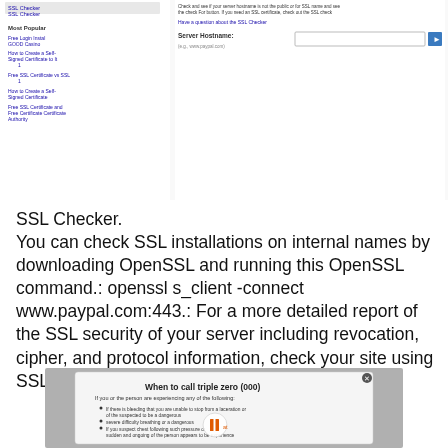[Figure (screenshot): Screenshot of a webpage showing a sidebar with navigation links including 'Most Popular' section with links like 'Free Login Install GOOD Casino', 'How to Create a Self-Signed Certificate to it', 'Free SSL Certificate vs SSL', 'How to Create a Self-Signed Certificate', 'Free SSL Certificate and Free Certificate Authority'. Right side shows 'Server Hostname' input field with a search button and some descriptive text about the SSL Checker.]
SSL Checker. You can check SSL installations on internal names by downloading OpenSSL and running this OpenSSL command.: openssl s_client -connect www.paypal.com:443.: For a more detailed report of the SSL security of your server including revocation, cipher, and protocol information, check your site using SSL Labs" SSL Server Test.
[Figure (screenshot): Screenshot of a video or webpage popup titled 'When to call triple zero (000)' with a play/pause button visible and some text content about when to call emergency services.]